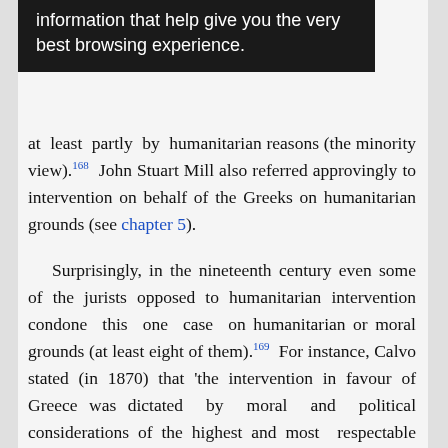[Figure (screenshot): Cookie/browser notification banner with dark background reading 'information that help give you the very best browsing experience.']
at least partly by humanitarian reasons (the minority view).168 John Stuart Mill also referred approvingly to intervention on behalf of the Greeks on humanitarian grounds (see chapter 5). Surprisingly, in the nineteenth century even some of the jurists opposed to humanitarian intervention condone this one case on humanitarian or moral grounds (at least eight of them).169 For instance, Calvo stated (in 1870) that 'the intervention in favour of Greece was dictated by moral and political considerations of the highest and most respectable order'.170 Even more surprising is the view expressed by Senior, one of the